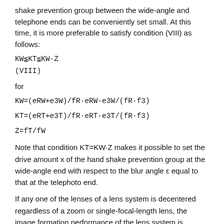shake prevention group between the wide-angle and telephone ends can be conveniently set small. At this time, it is more preferable to satisfy condition (VIII) as follows:
for
Note that condition KT=KW·Z makes it possible to set the drive amount x of the hand shake prevention group at the wide-angle end with respect to the blur angle ε equal to that at the telephoto end.
If any one of the lenses of a lens system is decentered regardless of a zoom or single-focal-length lens, the image formation performance of the lens system is generally degraded. In this case, if the lens system subjected to decentering has no aberration, the image formation